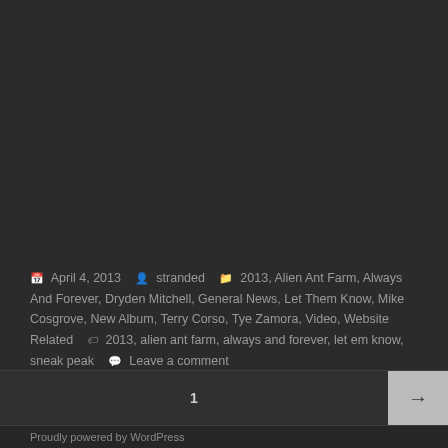📅 April 4, 2013  👤 stranded  📁 2013, Alien Ant Farm, Always And Forever, Dryden Mitchell, General News, Let Them Know, Mike Cosgrove, New Album, Terry Corso, Tye Zamora, Video, Website Related  🏷 2013, alien ant farm, always and forever, let em know, sneak peak  💬 Leave a comment
1
Proudly powered by WordPress